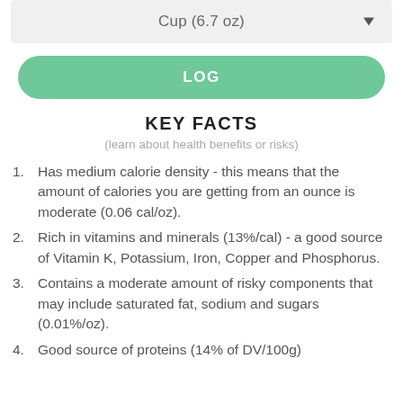Cup (6.7 oz)
LOG
KEY FACTS
(learn about health benefits or risks)
Has medium calorie density - this means that the amount of calories you are getting from an ounce is moderate (0.06 cal/oz).
Rich in vitamins and minerals (13%/cal) - a good source of Vitamin K, Potassium, Iron, Copper and Phosphorus.
Contains a moderate amount of risky components that may include saturated fat, sodium and sugars (0.01%/oz).
Good source of proteins (14% of DV/100g)